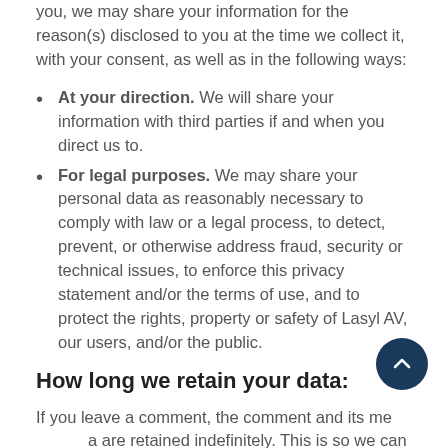you, we may share your information for the reason(s) disclosed to you at the time we collect it, with your consent, as well as in the following ways:
At your direction. We will share your information with third parties if and when you direct us to.
For legal purposes. We may share your personal data as reasonably necessary to comply with law or a legal process, to detect, prevent, or otherwise address fraud, security or technical issues, to enforce this privacy statement and/or the terms of use, and to protect the rights, property or safety of Lasyl AV, our users, and/or the public.
How long we retain your data:
If you leave a comment, the comment and its metadata are retained indefinitely. This is so we can recognize and approve any follow-up comments automatically instead of holding them in a moderation queue.
For users that register on our website (if any), we also store the personal information they provide in their